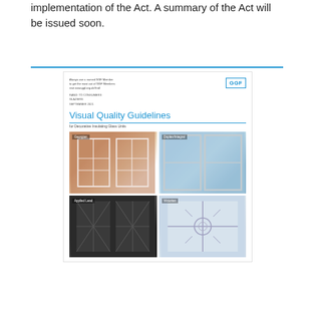implementation of the Act. A summary of the Act will be issued soon.
[Figure (illustration): Cover of GGF 'Visual Quality Guidelines for Decorative Insulating Glass Units' document, showing GGF logo and four window photographs: Georgian, Duplex/Integral, Applied Lead, Victorian.]